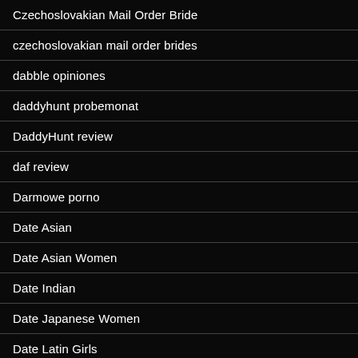Czechoslovakian Mail Order Bride
czechoslovakian mail order brides
dabble opiniones
daddyhunt probemonat
DaddyHunt review
daf review
Darmowe porno
Date Asian
Date Asian Women
Date Indian
Date Japanese Women
Date Latin Girls
Date Mexican Women